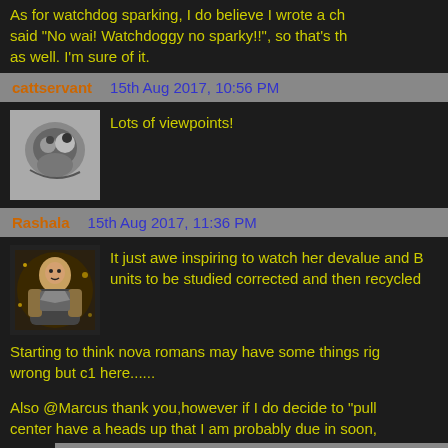As for watchdog sparking, I do believe I wrote a ch said "No wai! Watchdoggy no sparky!!", so that's th as well. I'm sure of it.
cattservant   15th Aug 2017, 10:56 PM
Lots of viewpoints!
Rashala   15th Aug 2017, 11:36 PM
It just awe inspiring to watch her devalue and B units to be studied corrected and then recycled
Starting to think nova romans may have some things rig wrong but c1 here......
Also @Marcus thank you,however if I do decide to "pull center have a heads up that I am probably due in soon,
Marcus Ramesy   16th Aug 2017, 6:16 AM
@rashala fair enough... but I doubt you w durable.